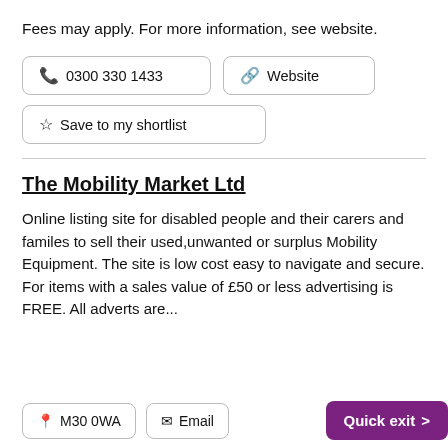Fees may apply. For more information, see website.
📞 0300 330 1433   🔗 Website
☆ Save to my shortlist
The Mobility Market Ltd
Online listing site for disabled people and their carers and familes to sell their used,unwanted or surplus Mobility Equipment. The site is low cost easy to navigate and secure. For items with a sales value of £50 or less advertising is FREE. All adverts are...
📍 M30 0WA   ✉ Email   Quick exit >